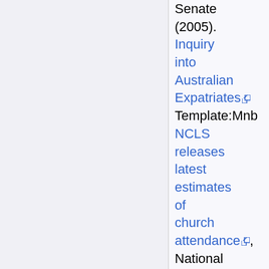Senate (2005). Inquiry into Australian Expatriates Template:Mnb NCLS releases latest estimates of church attendance, National Church